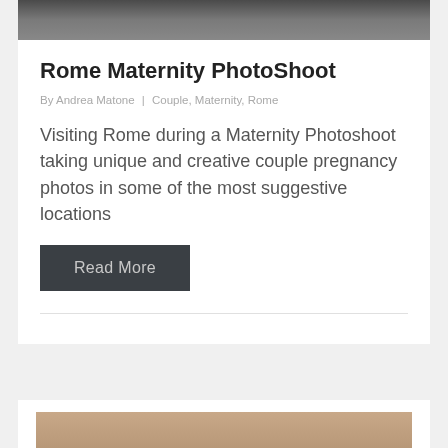[Figure (photo): Partial photo strip at top showing a couple, cropped at top of page]
Rome Maternity PhotoShoot
By Andrea Matone | Couple, Maternity, Rome
Visiting Rome during a Maternity Photoshoot taking unique and creative couple pregnancy photos in some of the most suggestive locations
Read More
[Figure (photo): Partial photo strip at bottom showing a circular/portrait style image, cropped at bottom of page]